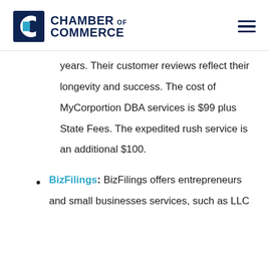CHAMBER OF COMMERCE
years. Their customer reviews reflect their longevity and success. The cost of MyCorporation DBA services is $99 plus State Fees. The expedited rush service is an additional $100.
BizFilings: BizFilings offers entrepreneurs and small businesses services, such as LLC